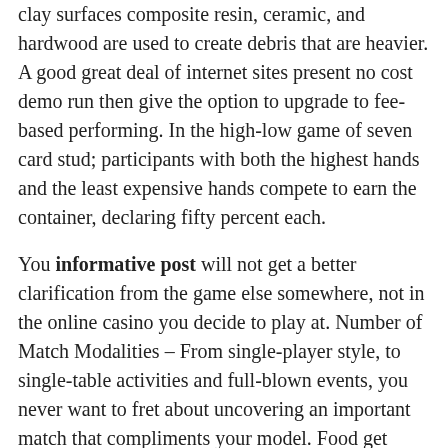clay surfaces composite resin, ceramic, and hardwood are used to create debris that are heavier. A good great deal of internet sites present no cost demo run then give the option to upgrade to fee-based performing. In the high-low game of seven card stud; participants with both the highest hands and the least expensive hands compete to earn the container, declaring fifty percent each.
You informative post will not get a better clarification from the game else somewhere, not in the online casino you decide to play at. Number of Match Modalities – From single-player style, to single-table activities and full-blown events, you never want to fret about uncovering an important match that compliments your model. Food get direction is the flexibility to come up with convinced you possess an adequate amount of cash to end up able to survive the downswings present in on line casino poker events as well as an absense of refrain from Nevada handle na